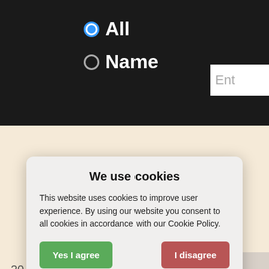[Figure (screenshot): Dark top navigation bar with radio buttons labeled 'All' and 'Name', and a partially visible text input box]
All
Name
[Figure (screenshot): Website background with left-side numeric labels (20, 40, 60) and a photo/light gray area on the right]
We use cookies
This website uses cookies to improve user experience. By using our website you consent to all cookies in accordance with our Cookie Policy.
Yes I agree
I disagree
Read more
Free cookie consent by cookie-script.com